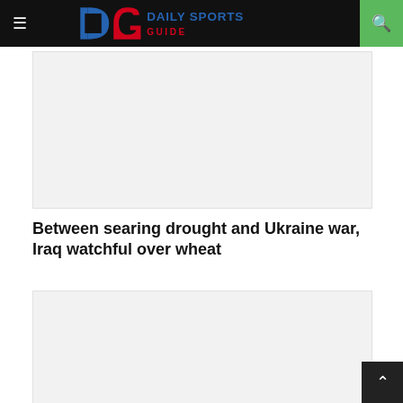Daily Sports Guide
[Figure (other): Advertisement placeholder box (top)]
Between searing drought and Ukraine war, Iraq watchful over wheat
[Figure (other): Advertisement placeholder box (bottom)]